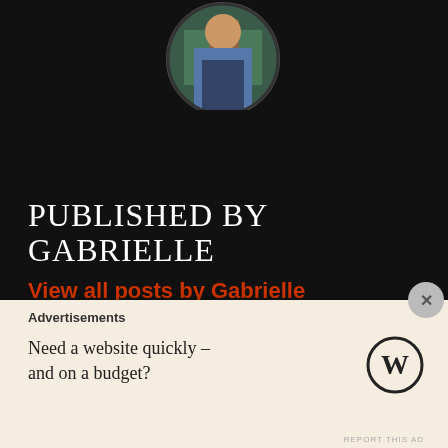[Figure (photo): Circular profile photo of Gabrielle, partially visible at top of page]
PUBLISHED BY GABRIELLE
View all posts by Gabrielle
Previous
LASTING IMPACT
Next
"WHAT MAKES YOU THINK I CAN'T?"
FOLLOW US
Advertisements
Need a website quickly –
and on a budget?